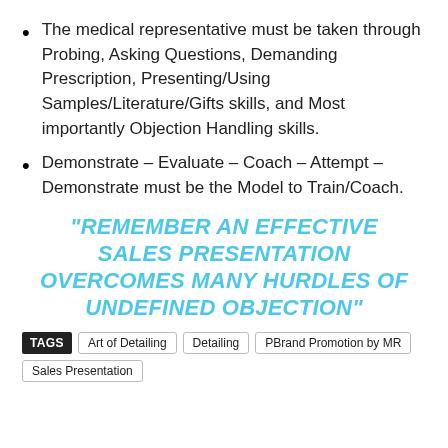The medical representative must be taken through Probing, Asking Questions, Demanding Prescription, Presenting/Using Samples/Literature/Gifts skills, and Most importantly Objection Handling skills.
Demonstrate – Evaluate – Coach – Attempt – Demonstrate must be the Model to Train/Coach.
“REMEMBER AN EFFECTIVE SALES PRESENTATION OVERCOMES MANY HURDLES OF UNDEFINED OBJECTION”
TAGS  Art of Detailing  Detailing  PBrand Promotion by MR  Sales Presentation